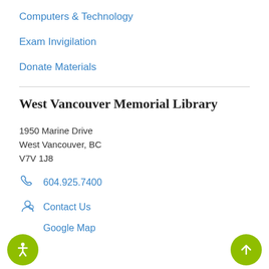Computers & Technology
Exam Invigilation
Donate Materials
West Vancouver Memorial Library
1950 Marine Drive
West Vancouver, BC
V7V 1J8
604.925.7400
Contact Us
Google Map